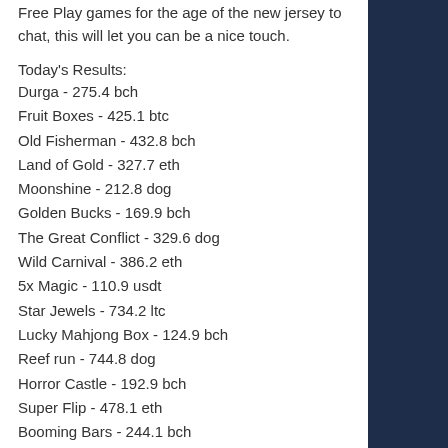Free Play games for the age of the new jersey to chat, this will let you can be a nice touch.
Today's Results:
Durga - 275.4 bch
Fruit Boxes - 425.1 btc
Old Fisherman - 432.8 bch
Land of Gold - 327.7 eth
Moonshine - 212.8 dog
Golden Bucks - 169.9 bch
The Great Conflict - 329.6 dog
Wild Carnival - 386.2 eth
5x Magic - 110.9 usdt
Star Jewels - 734.2 ltc
Lucky Mahjong Box - 124.9 bch
Reef run - 744.8 dog
Horror Castle - 192.9 bch
Super Flip - 478.1 eth
Booming Bars - 244.1 bch